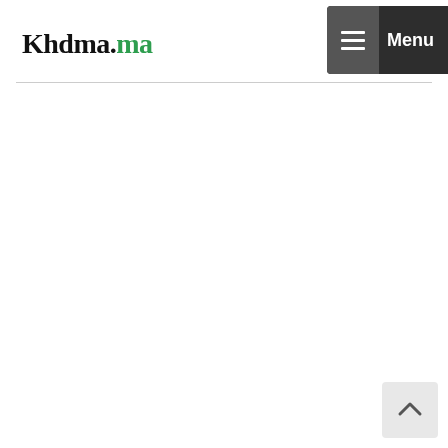Khdma.ma — Menu
[Figure (screenshot): Back to top button arrow in bottom right corner]